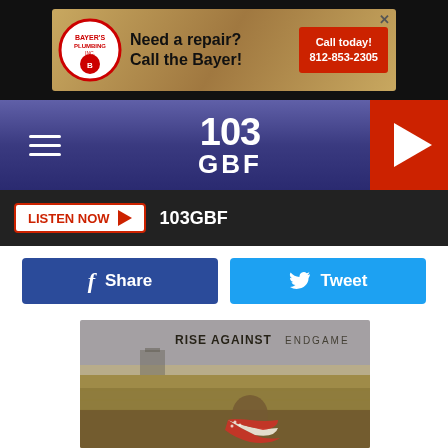[Figure (screenshot): Advertisement banner for Bayer's Plumbing Inc. with logo, text 'Need a repair? Call the Bayer!' and red CTA button '812-853-2305']
[Figure (logo): 103 GBF radio station navigation bar with hamburger menu, logo, and red play button]
LISTEN NOW  103GBF
Share
Tweet
[Figure (photo): Rise Against Endgame album cover showing a child in a field wrapped in an American flag with text 'RISE AGAINST ENDGAME']